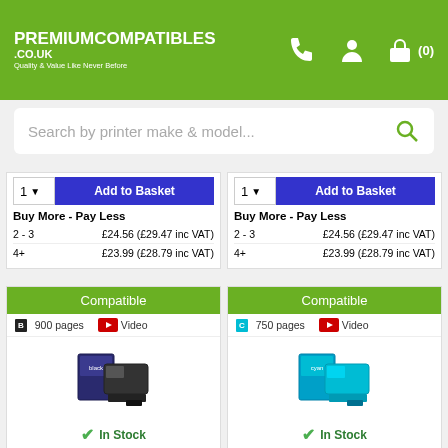[Figure (logo): PremiumCompatibles.co.uk logo with tagline]
Search by printer make & model...
| Qty | Price |
| --- | --- |
| 2 - 3 | £24.56 (£29.47 inc VAT) |
| 4+ | £23.99 (£28.79 inc VAT) |
| Qty | Price |
| --- | --- |
| 2 - 3 | £24.56 (£29.47 inc VAT) |
| 4+ | £23.99 (£28.79 inc VAT) |
Compatible
900 pages  Video
[Figure (photo): Compatible Brother LC1100 Black Ink Cartridge product image]
In Stock
Compatible Brother LC1100 Black Ink Cartridge (LC1100BK)
Compatible
750 pages  Video
[Figure (photo): Compatible Brother LC1100 Cyan Ink Cartridge product image]
In Stock
Compatible Brother LC1100 Cyan Ink Cartridge (LC1100C)